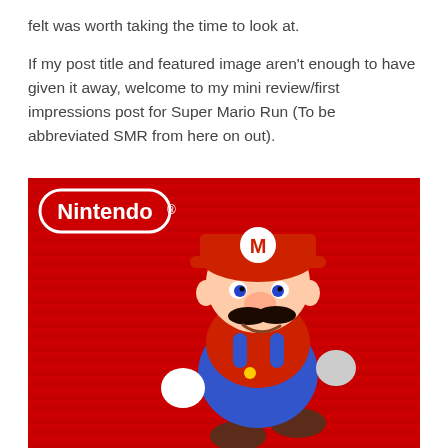felt was worth taking the time to look at.
If my post title and featured image aren't enough to have given it away, welcome to my mini review/first impressions post for Super Mario Run (To be abbreviated SMR from here on out).
[Figure (illustration): Nintendo Super Mario Run promotional image: Mario character running against a red striped background with the Nintendo logo in the top-left corner.]